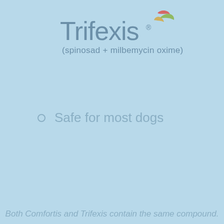[Figure (logo): Trifexis brand logo with stylized leaf/plant graphic and text: Trifexis (spinosad + milbemycin oxime)]
Safe for most dogs
Both Comfortis and Trifexis contain the same compound.